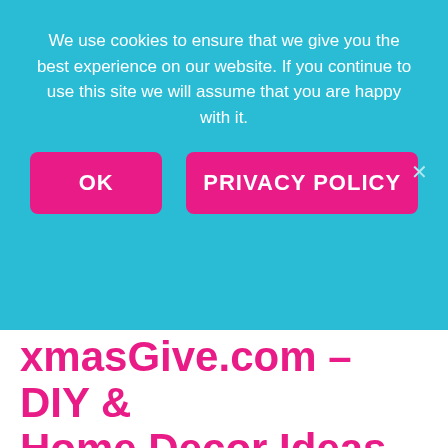We use cookies to ensure that we give you the best experience on our website. If you continue to use this site we will assume that you are happy with it.
OK
PRIVACY POLICY
xmasGive.com – DIY & Home Decor Ideas says:
[…] Previous Previous post: The last word listing of greatest drugstore dupes, most underneath $10! Get … Search for: […]
18 Ways To Organize
Your Craft Room says: